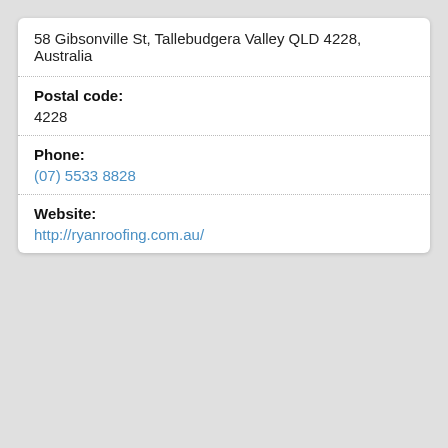58 Gibsonville St, Tallebudgera Valley QLD 4228, Australia
Postal code:
4228
Phone:
(07) 5533 8828
Website:
http://ryanroofing.com.au/